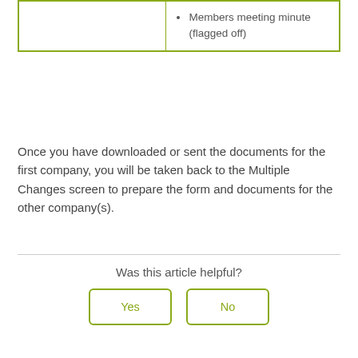|  | Members meeting minute (flagged off) |
Once you have downloaded or sent the documents for the first company, you will be taken back to the Multiple Changes screen to prepare the form and documents for the other company(s).
Was this article helpful?
Yes
No